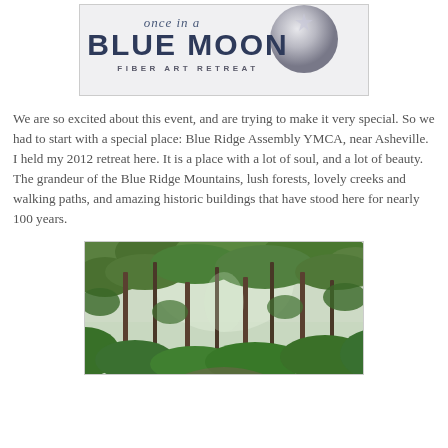[Figure (logo): Once in a Blue Moon Fiber Art Retreat logo with stylized text and moon graphic]
We are so excited about this event, and are trying to make it very special. So we had to start with a special place: Blue Ridge Assembly YMCA, near Asheville. I held my 2012 retreat here. It is a place with a lot of soul, and a lot of beauty. The grandeur of the Blue Ridge Mountains, lush forests, lovely creeks and walking paths, and amazing historic buildings that have stood here for nearly 100 years.
[Figure (photo): Photograph of lush green forest with tall trees and dense foliage, a path visible at the base]